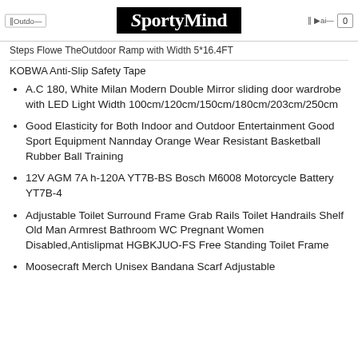SportyMind
Steps Flowe TheOutdoor Ramp with Width 5*16.4FT
KOBWA Anti-Slip Safety Tape
A.C 180, White Milan Modern Double Mirror sliding door wardrobe with LED Light Width 100cm/120cm/150cm/180cm/203cm/250cm
Good Elasticity for Both Indoor and Outdoor Entertainment Good Sport Equipment Nannday Orange Wear Resistant Basketball Rubber Ball Training
12V AGM 7A h-120A YT7B-BS Bosch M6008 Motorcycle Battery YT7B-4
Adjustable Toilet Surround Frame Grab Rails Toilet Handrails Shelf Old Man Armrest Bathroom WC Pregnant Women Disabled,Antislipmat HGBKJUO-FS Free Standing Toilet Frame
Moosecraft Merch Unisex Bandana Scarf Adjustable